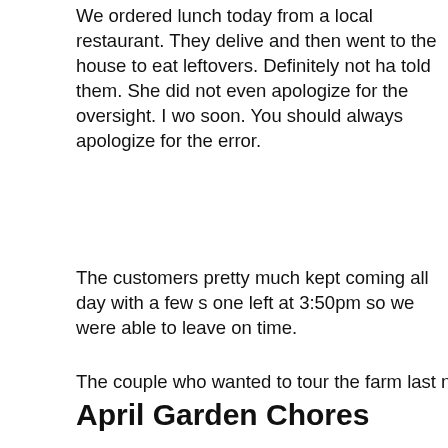We ordered lunch today from a local restaurant. They delive and then went to the house to eat leftovers. Definitely not ha told them. She did not even apologize for the oversight. I wo soon. You should always apologize for the error.
The customers pretty much kept coming all day with a few s one left at 3:50pm so we were able to leave on time.
The couple who wanted to tour the farm last night at 5:40pm
I tried to put the waterlily pad tubers in pots. I did and then w them came out so they are now floating around the pond. He
We had rotisserie chicken for dinner while watching the Sve we have seen before. It was good. Then I fell asleep on the
April Garden Chores